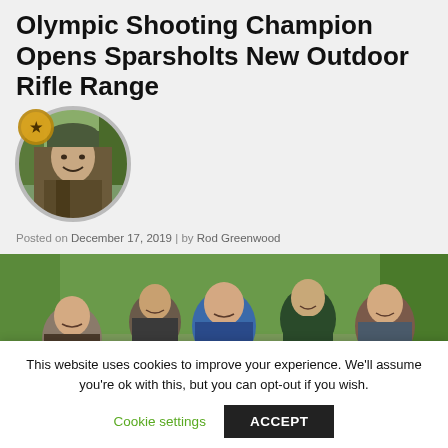Olympic Shooting Champion Opens Sparsholts New Outdoor Rifle Range
[Figure (photo): Circular avatar photo of a person in camouflage outdoor clothing with a badge/emblem overlay in the top-left]
Posted on December 17, 2019 | by Rod Greenwood
[Figure (photo): Group photo of five young people outdoors among trees, with one person in the centre wearing what appears to be an Olympic medal]
This website uses cookies to improve your experience. We'll assume you're ok with this, but you can opt-out if you wish.
Cookie settings  ACCEPT